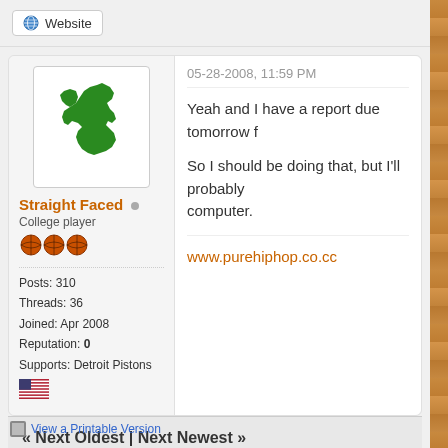Website
[Figure (illustration): Green silhouette map of Michigan state]
Straight Faced  College player  Posts: 310  Threads: 36  Joined: Apr 2008  Reputation: 0  Supports: Detroit Pistons
05-28-2008, 11:59 PM
Yeah and I have a report due tomorrow f
So I should be doing that, but I'll probably computer.
www.purehiphop.co.cc
« Next Oldest | Next Newest »
View a Printable Version